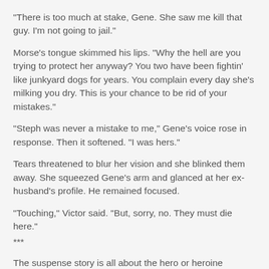“There is too much at stake, Gene. She saw me kill that guy. I’m not going to jail.”
Morse’s tongue skimmed his lips. “Why the hell are you trying to protect her anyway? You two have been fightin’ like junkyard dogs for years. You complain every day she’s milking you dry. This is your chance to be rid of your mistakes.”
“Steph was never a mistake to me,” Gene’s voice rose in response. Then it softened. “I was hers.”
Tears threatened to blur her vision and she blinked them away. She squeezed Gene’s arm and glanced at her ex-husband’s profile. He remained focused.
“Touching,” Victor said. “But, sorry, no. They must die here.”
***
The suspense story is all about the hero or heroine prevailing. Emotional satisfaction is what the reader gets from every genre read. And since the it goes on...